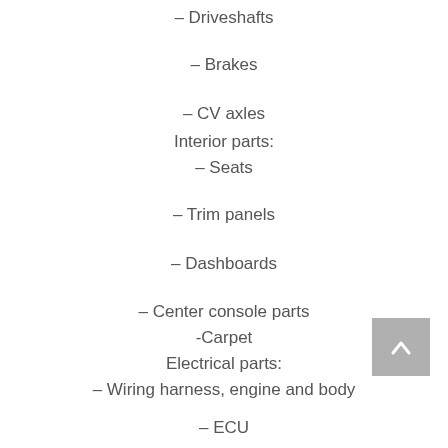– Driveshafts
– Brakes
– CV axles
Interior parts:
– Seats
– Trim panels
– Dashboards
– Center console parts
-Carpet
Electrical parts:
– Wiring harness, engine and body
– ECU